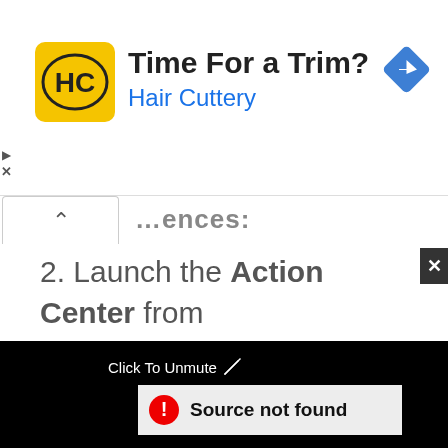[Figure (screenshot): Hair Cuttery advertisement banner with yellow logo showing 'HC', text 'Time For a Trim?' and 'Hair Cuttery' in blue, and a blue navigation/directions icon on the right. Ad skip controls (triangle play and X) on left edge.]
2. Launch the Action Center from the bottom right corner of your
[Figure (screenshot): Video player overlay with black background showing 'Click To Unmute' text with cursor icon, and a white box with red error circle icon and text 'Source not found'. Close X button in top right corner.]